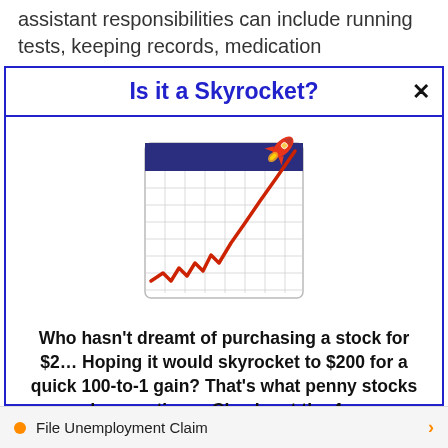assistant responsibilities can include running tests, keeping records, medication
Is it a Skyrocket?
[Figure (illustration): A stylized illustration of a stock chart on a calendar/grid background with a red upward-trending line and a rocket launching from the upper right corner]
Who hasn't dreamt of purchasing a stock for $2... Hoping it would skyrocket to $200 for a quick 100-to-1 gain? That's what penny stocks can do sometimes. Check out the 4 penny stocks on our watchlist here.
>>> See The List <<<
File Unemployment Claim